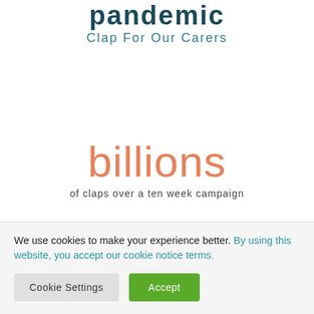pandemic
Clap For Our Carers
billions
of claps over a ten week campaign
5k
We use cookies to make your experience better. By using this website, you accept our cookie notice terms.
Cookie Settings
Accept